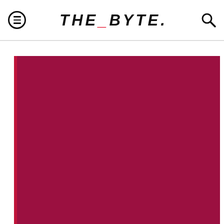THE_BYTE.
[Figure (other): Crimson/dark red article card with date '7. 26. 17' and 'READ MORE' text with arrow, partial view cropped at top]
[Figure (other): Crimson article card with image label 'NASA's Mars Rover Concept Looks Like the Batmobile featured image' and large white headline 'NASA'S MARS ROVER CONCEPT LOOKS LIKE THE BATMOBILE']